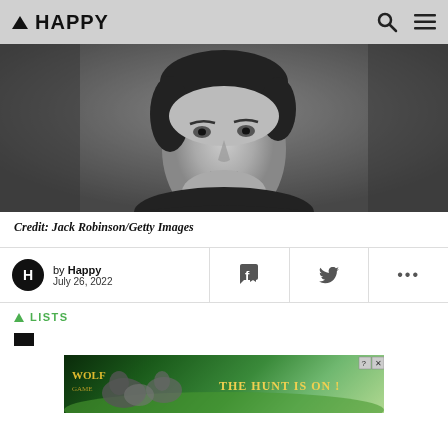▲ HAPPY
[Figure (photo): Black and white portrait photograph of a man with dark hair wearing a dark turtleneck sweater, looking directly at the camera with an intense expression.]
Credit: Jack Robinson/Getty Images
by Happy
July 26, 2022
▲ LISTS
[Figure (photo): Advertisement banner for Wolf game featuring wolves and the text 'THE HUNT IS ON!']